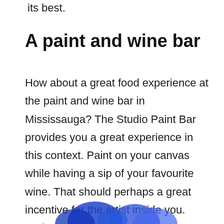its best.
A paint and wine bar
How about a great food experience at the paint and wine bar in Mississauga? The Studio Paint Bar provides you a great experience in this context. Paint on your canvas while having a sip of your favourite wine. That should perhaps a great incentive for the artist inside you. Perhaps you are on your way to create a perfect masterpiece par excellence. You can also learn different techniques from different artists.
[Figure (photo): Partial view of colorful paint artwork or brushstrokes at the bottom of the page]